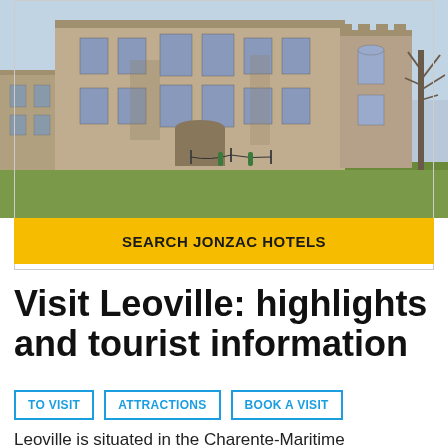[Figure (photo): Photo of a historic stone castle/chateau with towers, large windows, ivy, and green lawn in front. Bare tree visible on right side. Blue sky in the background.]
SEARCH JONZAC HOTELS
Visit Leoville: highlights and tourist information
TO VISIT
ATTRACTIONS
BOOK A VISIT
Leoville is situated in the Charente-Maritime